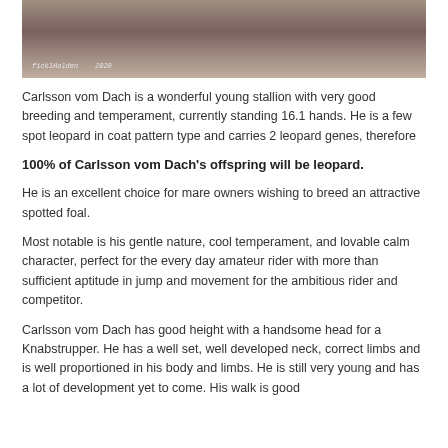[Figure (photo): Partial photo of a horse (Knabstrupper stallion Carlsson vom Dach) with white coat and red/white decoration, watermark visible in lower left]
Carlsson vom Dach is a wonderful young stallion with very good breeding and temperament, currently standing 16.1 hands. He is a few spot leopard in coat pattern type and carries 2 leopard genes, therefore
100% of Carlsson vom Dach's offspring will be leopard.
He is an excellent choice for mare owners wishing to breed an attractive spotted foal.
Most notable is his gentle nature, cool temperament, and lovable calm character, perfect for the every day amateur rider with more than sufficient aptitude in jump and movement for the ambitious rider and competitor.
Carlsson vom Dach has good height with a handsome head for a Knabstrupper. He has a well set, well developed neck, correct limbs and is well proportioned in his body and limbs. He is still very young and has a lot of development yet to come. His walk is good